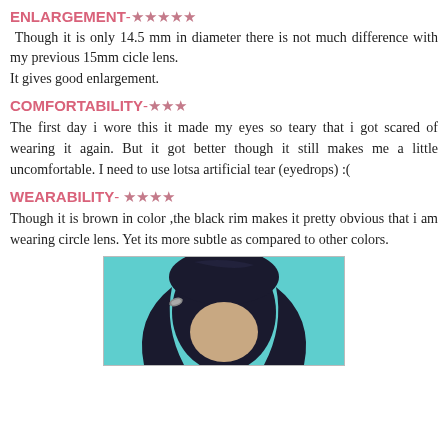ENLARGEMENT-★★★★★
Though it is only 14.5 mm in diameter there is not much difference with my previous 15mm cicle lens.
It gives good enlargement.
COMFORTABILITY-★★★
The first day i wore this it made my eyes so teary that i got scared of wearing it again. But it got better though it still makes me a little uncomfortable. I need to use lotsa artificial tear (eyedrops) :(
WEARABILITY- ★★★★
Though it is brown in color ,the black rim makes it pretty obvious that i am wearing circle lens. Yet its more subtle as compared to other colors.
[Figure (photo): Photo of a person with dark hair from behind/top, against a teal/cyan background]